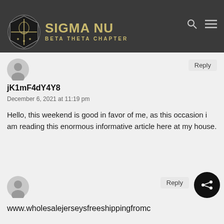best way to change, may you lists and continue to help
[Figure (logo): Sigma Nu Beta Theta Chapter crest and wordmark on dark background]
Reply
[Figure (illustration): Default user avatar icon (gray circle with silhouette)]
jK1mF4dY4Y8
December 6, 2021 at 11:19 pm
Hello, this weekend is good in favor of me, as this occasion i am reading this enormous informative article here at my house.
[Figure (illustration): Default user avatar icon (gray circle with silhouette)]
Reply
www.wholesalejerseysfreeshippingfromc